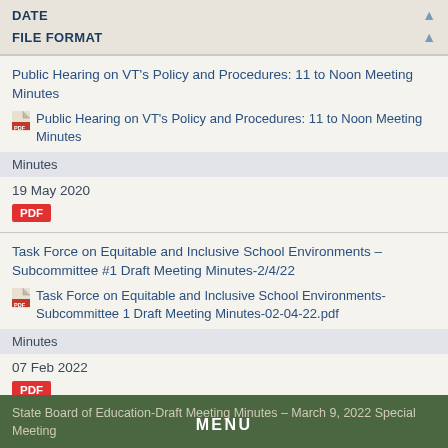DATE
FILE FORMAT
Public Hearing on VT's Policy and Procedures: 11 to Noon Meeting Minutes
Public Hearing on VT's Policy and Procedures: 11 to Noon Meeting Minutes
Minutes
19 May 2020
PDF
Task Force on Equitable and Inclusive School Environments – Subcommittee #1 Draft Meeting Minutes-2/4/22
Task Force on Equitable and Inclusive School Environments- Subcommittee 1 Draft Meeting Minutes-02-04-22.pdf
Minutes
07 Feb 2022
PDF
State Board of Education-Draft Meeting Minutes – March 9, 2022 Special Meeting